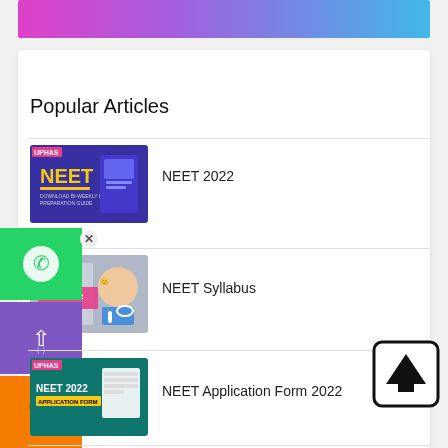[Figure (illustration): Top banner with colorful gradient (pink to purple to blue)]
Popular Articles
[Figure (screenshot): NEET 2022 thumbnail - purple background with NEET logo and hands holding phone]
NEET 2022
[Figure (screenshot): NEET 2022 Syllabus thumbnail - doctor with stethoscope and pink syllabus label]
NEET Syllabus
[Figure (screenshot): NEET 2022 Application Form thumbnail - teal background with form document]
NEET Application Form 2022
[Figure (screenshot): NEET 2022 Admit Card thumbnail - teal background with monitor and card]
NEET Admit Card